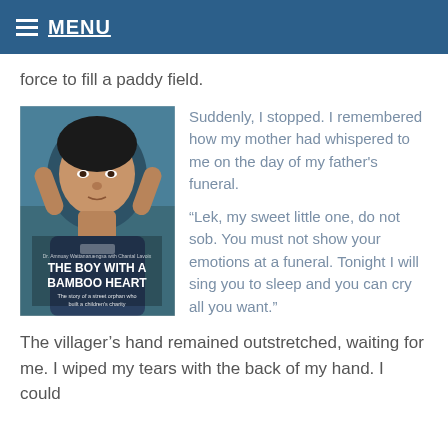MENU
force to fill a paddy field.
[Figure (photo): Book cover of 'The Boy with a Bamboo Heart' by Dr. Amnuay Wattanaruengsa with Chantal Lavoix, showing a young boy's face]
Suddenly, I stopped. I remembered how my mother had whispered to me on the day of my father's funeral.
“Lek, my sweet little one, do not sob. You must not show your emotions at a funeral. Tonight I will sing you to sleep and you can cry all you want.”
The villager’s hand remained outstretched, waiting for me. I wiped my tears with the back of my hand. I could